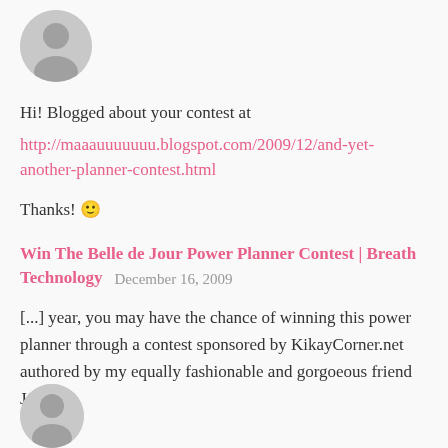[Figure (illustration): Grey circular avatar placeholder with person silhouette icon at the top left]
Hi! Blogged about your contest at
http://maaauuuuuuu.blogspot.com/2009/12/and-yet-another-planner-contest.html
Thanks! 🙂
Win The Belle de Jour Power Planner Contest | Breath Technology
December 16, 2009
[...] year, you may have the chance of winning this power planner through a contest sponsored by KikayCorner.net authored by my equally fashionable and gorgoeous friend Jen [...]
[Figure (illustration): Grey circular avatar placeholder partially visible at the bottom of the page]